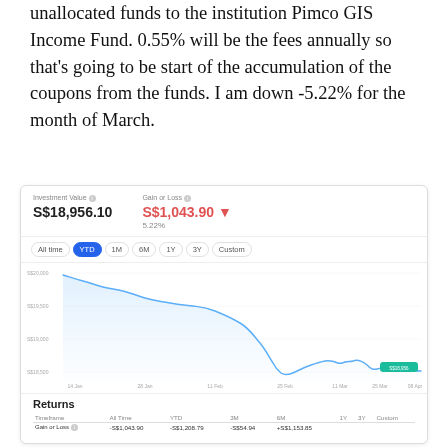unallocated funds to the institution Pimco GIS Income Fund. 0.55% will be the fees annually so that's going to be start of the accumulation of the coupons from the funds. I am down -5.22% for the month of March.
[Figure (screenshot): Investment platform screenshot showing Investment Value of S$18,956.10, Gain or Loss of S$1,043.90 (5.22%), a YTD line chart showing declining portfolio value from ~S$20,000 to ~S$18,956 over Jan-Apr, and a Returns table with Timeframe, All Time, YTD, 3M, 6M, 1Y, 3Y, Custom columns; Gain or Loss row shows -S$1,043.90, -S$1,208.79, -S$54.94, +S$1,153.85]